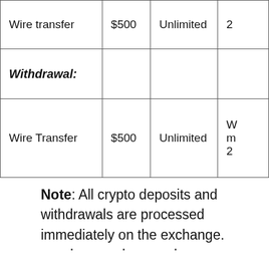|  |  |  |  |
| --- | --- | --- | --- |
| Wire transfer | $500 | Unlimited | 2 |
| Withdrawal: |  |  |  |
| Wire Transfer | $500 | Unlimited | W m 2 |
Note: All crypto deposits and withdrawals are processed immediately on the exchange.